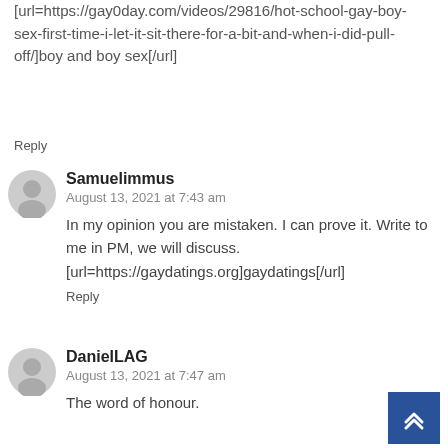[url=https://gay0day.com/videos/29816/hot-school-gay-boy-sex-first-time-i-let-it-sit-there-for-a-bit-and-when-i-did-pull-off/]boy and boy sex[/url]
Reply
Samuelimmus
August 13, 2021 at 7:43 am
In my opinion you are mistaken. I can prove it. Write to me in PM, we will discuss. [url=https://gaydatings.org]gaydatings[/url]
Reply
DanielLAG
August 13, 2021 at 7:47 am
The word of honour.